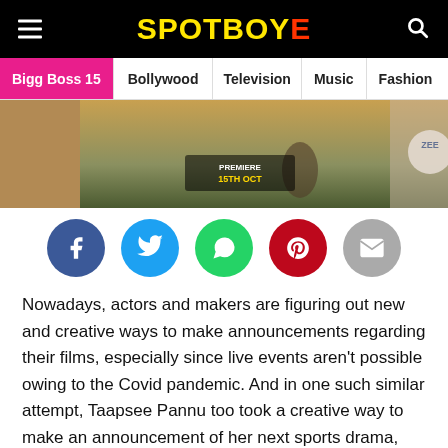SpotboyE — Bigg Boss 15 | Bollywood | Television | Music | Fashion
[Figure (photo): Movie promotional banner for Rashmi Rocket showing runners on a track with ZEE Premium premiere date 15th Oct]
[Figure (infographic): Social share buttons: Facebook, Twitter, WhatsApp, Pinterest, Email]
Nowadays, actors and makers are figuring out new and creative ways to make announcements regarding their films, especially since live events aren't possible owing to the Covid pandemic. And in one such similar attempt, Taapsee Pannu too took a creative way to make an announcement of her next sports drama, Rashmi Rocket.